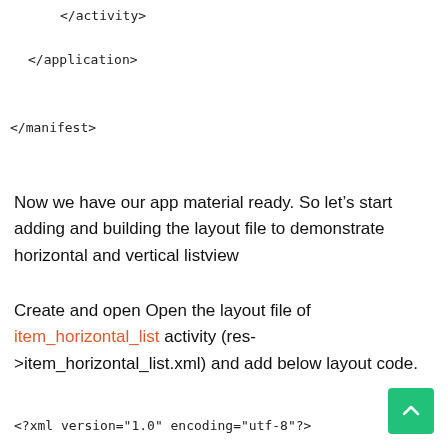</activity>
</application>
</manifest>
Now we have our app material ready. So let’s start adding and building the layout file to demonstrate horizontal and vertical listview
Create and open Open the layout file of item_horizontal_list activity (res->item_horizontal_list.xml) and add below layout code.
<?xml version="1.0" encoding="utf-8"?>